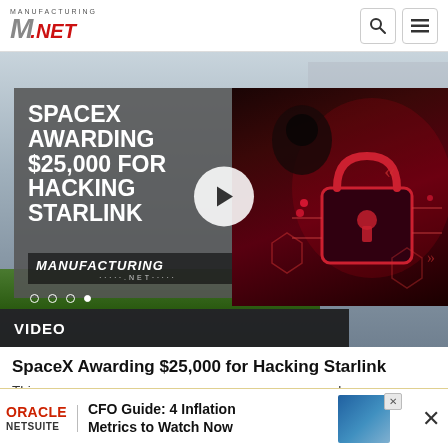[Figure (logo): Manufacturing.net logo with stylized M and red NET text]
[Figure (screenshot): Video thumbnail showing SpaceX Awarding $25,000 for Hacking Starlink with cybersecurity imagery (hooded figure and padlock)]
VIDEO
SpaceX Awarding $25,000 for Hacking Starlink
This co homeм
[Figure (other): Oracle NetSuite advertisement: CFO Guide: 4 Inflation Metrics to Watch Now]